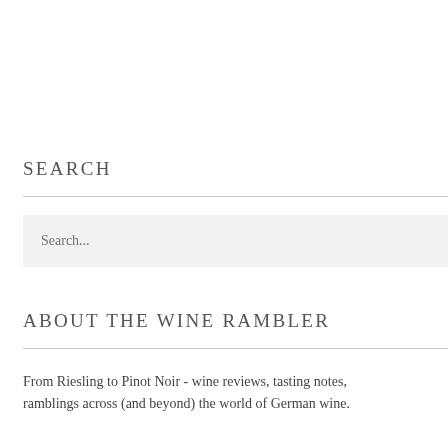SEARCH
Search...
ABOUT THE WINE RAMBLER
From Riesling to Pinot Noir - wine reviews, tasting notes, ramblings across (and beyond) the world of German wine.